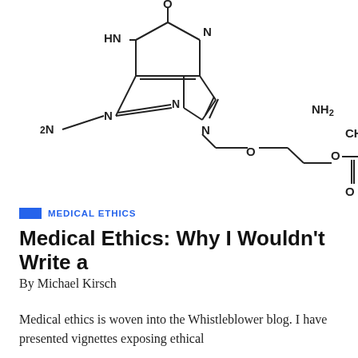[Figure (schematic): Chemical structure diagram of a molecule showing a purine-based ring system (hypoxanthine/guanine-like) with HN, N, 2N labels, connected via a CH2-O-CH2CH2-O linkage to a chiral carbon bearing NH2 group, a carbonyl (C=O), and a CH with CH3 substituent. Partial structure truncated at right edge (CH partial).]
MEDICAL ETHICS
Medical Ethics: Why I Wouldn’t Write a
By Michael Kirsch
Medical ethics is woven into the Whistleblower blog. I have presented vignettes exposing ethical